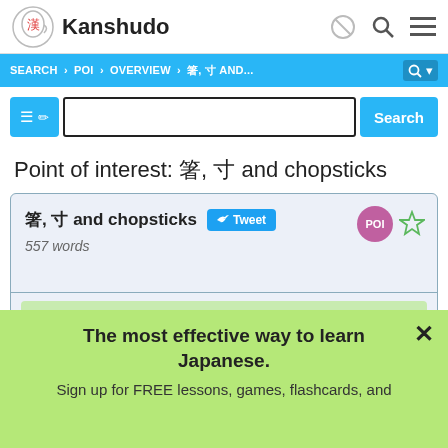Kanshudo
SEARCH > POI > OVERVIEW > 亂亃, 亄 AND...
Search input bar
Point of interest: 亂亃, 亄 and chopsticks
亂亃, 亄 and chopsticks  557 words
The most effective way to learn Japanese. Sign up for FREE lessons, games, flashcards, and